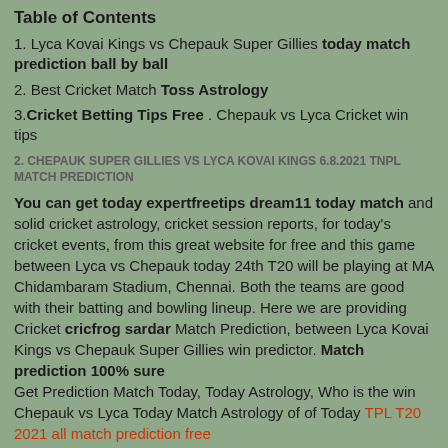Table of Contents
1. Lyca Kovai Kings vs Chepauk Super Gillies today match prediction ball by ball
2. Best Cricket Match Toss Astrology
3. Cricket Betting Tips Free . Chepauk vs Lyca Cricket win tips
2. CHEPAUK SUPER GILLIES VS LYCA KOVAI KINGS 6.8.2021 TNPL MATCH PREDICTION
You can get today expertfreetips dream11 today match and solid cricket astrology, cricket session reports, for today's cricket events, from this great website for free and this game between Lyca vs Chepauk today 24th T20 will be playing at MA Chidambaram Stadium, Chennai. Both the teams are good with their batting and bowling lineup. Here we are providing Cricket cricfrog sardar Match Prediction, between Lyca Kovai Kings vs Chepauk Super Gillies win predictor. Match prediction 100% sure
Get Prediction Match Today, Today Astrology, Who is the win Chepauk vs Lyca Today Match Astrology of of Today TPL T20 2021 all match prediction free
3. Om Sai Ram Tipper 100% Free Cricket Match